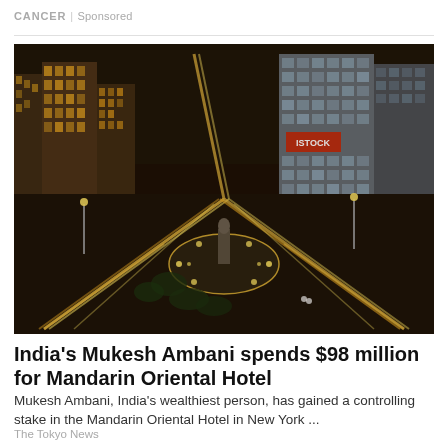CANCER | Sponsored
[Figure (photo): Aerial night view of a busy city intersection with light trails from traffic, tall buildings, and a circular monument/statue in the foreground. Likely New York City (Columbus Circle area).]
India's Mukesh Ambani spends $98 million for Mandarin Oriental Hotel
Mukesh Ambani, India's wealthiest person, has gained a controlling stake in the Mandarin Oriental Hotel in New York ...
The Tokyo News